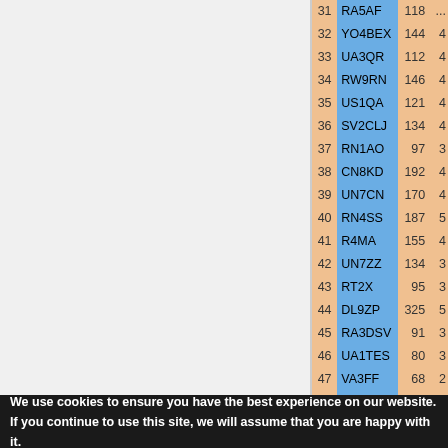| # | Call | QSOs | ... |
| --- | --- | --- | --- |
| 31 | RA5AF | 118 | ... |
| 32 | YO4BEX | 144 | 4 |
| 33 | UA3QR | 112 | 4 |
| 34 | RW9RN | 146 | 4 |
| 35 | US1QA | 121 | 4 |
| 36 | SV2CLJ | 134 | 4 |
| 37 | RN1AO | 97 | 3 |
| 38 | CN8KD | 192 | 4 |
| 39 | UN7CN | 170 | 4 |
| 40 | RN4SS | 187 | 5 |
| 41 | R4MA | 155 | 4 |
| 42 | UN7ZZ | 134 | 3 |
| 43 | RT2X | 95 | 3 |
| 44 | DL9ZP | 325 | 5 |
| 45 | RA3DSV | 91 | 3 |
| 46 | UA1TES | 80 | 3 |
| 47 | VA3FF | 68 | 2 |
| 48 | SV9RNG | 165 | 3 |
| 49 | UA3GQ | 87 | 3 |
| 50 | RD4W | 133 | 3 |
| 51 | RA4AG | 118 | 3 |
| 52 | R0SBI | 129 | 3 |
| 53 | RX9CC | 125 | 3 |
| 54 | IT9PPG | 92 | 2 |
We use cookies to ensure you have the best experience on our website. If you continue to use this site, we will assume that you are happy with it.